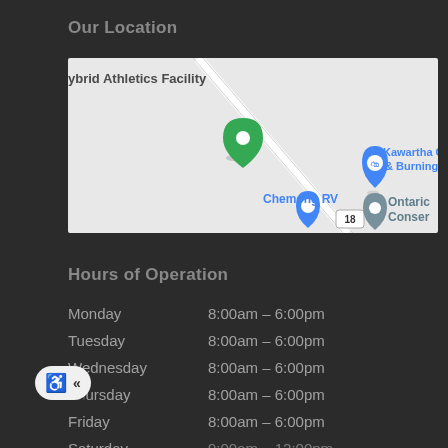Our Location
[Figure (map): Google map screenshot showing Hybrid Athletics Facility location with nearby businesses including Kawartha Clean Air & Burning Sensation, Chemong RV, and Ontario Conservation. A green pin marks the facility location. Route 18 visible.]
Hours of Operation
| Day | Hours |
| --- | --- |
| Monday | 8:00am – 6:00pm |
| Tuesday | 8:00am – 6:00pm |
| Wednesday | 8:00am – 6:00pm |
| Thursday | 8:00am – 6:00pm |
| Friday | 8:00am – 6:00pm |
| Saturday | 9:00am – 12:00pm |